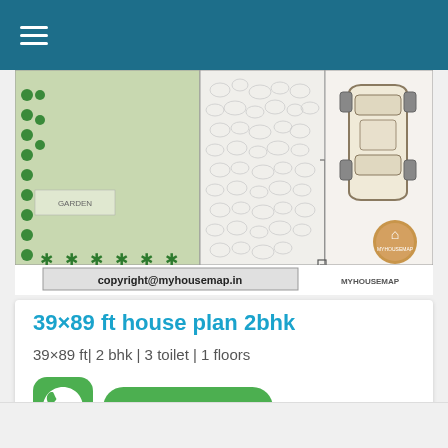Navigation menu bar
[Figure (engineering-diagram): House floor plan blueprint showing garden/green area on left with tree/plant symbols, pebble/stone area in center, car parking on right with top-down car view, copyright watermark 'copyright@myhousemap.in' and MYHOUSEMAP logo]
39×89 ft house plan 2bhk
39×89 ft| 2 bhk | 3 toilet | 1 floors
CHAT WITH US
MORE >